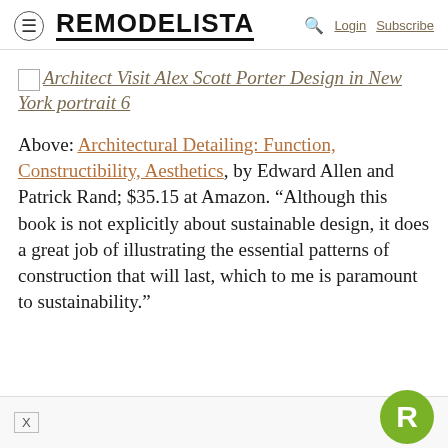≡  REMODELISTA  🔍  Login  Subscribe
[Figure (illustration): Broken image placeholder link with italic text: Architect Visit Alex Scott Porter Design in New York portrait 6]
Above: Architectural Detailing: Function, Constructibility, Aesthetics, by Edward Allen and Patrick Rand; $35.15 at Amazon. "Although this book is not explicitly about sustainable design, it does a great job of illustrating the essential patterns of construction that will last, which to me is paramount to sustainability."
X  [Remodelista R badge]